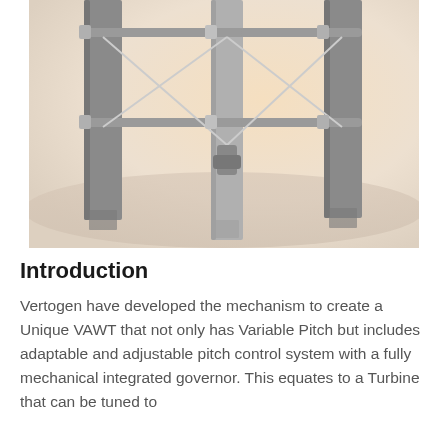[Figure (illustration): 3D rendering of a Vertical Axis Wind Turbine (VAWT) showing vertical blades, horizontal struts, and a central hub mechanism on a light warm-toned background.]
Introduction
Vertogen have developed the mechanism to create a Unique VAWT that not only has Variable Pitch but includes adaptable and adjustable pitch control system with a fully mechanical integrated governor. This equates to a Turbine that can be tuned to